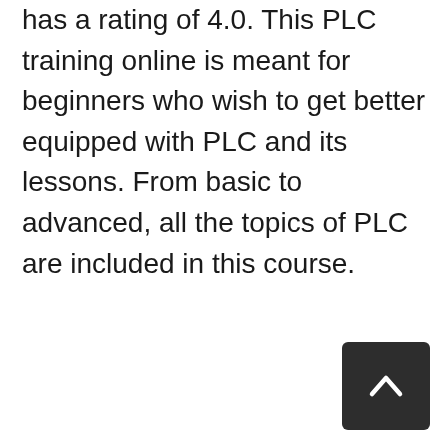has a rating of 4.0. This PLC training online is meant for beginners who wish to get better equipped with PLC and its lessons. From basic to advanced, all the topics of PLC are included in this course.
[Figure (other): Dark rounded square button with a white upward-pointing chevron arrow, used as a scroll-to-top button]